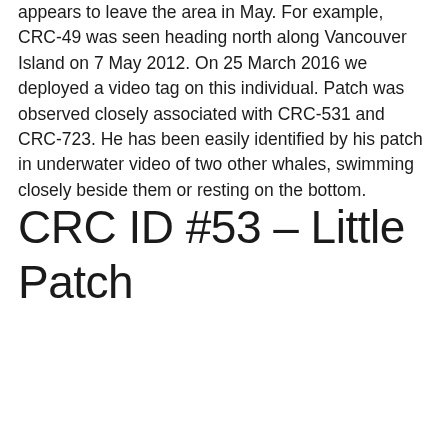appears to leave the area in May. For example, CRC-49 was seen heading north along Vancouver Island on 7 May 2012. On 25 March 2016 we deployed a video tag on this individual. Patch was observed closely associated with CRC-531 and CRC-723. He has been easily identified by his patch in underwater video of two other whales, swimming closely beside them or resting on the bottom.
CRC ID #53 – Little Patch